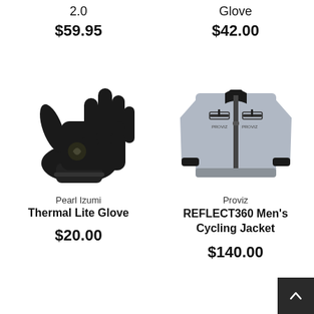2.0
$59.95
Glove
$42.00
[Figure (photo): Pearl Izumi black thermal lite glove, palm facing forward]
Pearl Izumi
Thermal Lite Glove
$20.00
[Figure (photo): Proviz REFLECT360 Men's Cycling Jacket in silver/grey color, front view on white background]
Proviz
REFLECT360 Men's Cycling Jacket
$140.00